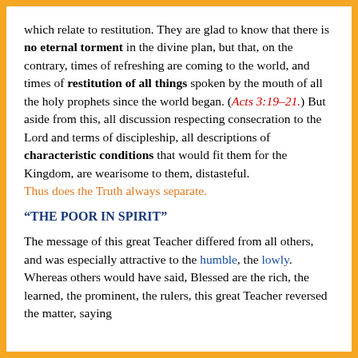which relate to restitution. They are glad to know that there is no eternal torment in the divine plan, but that, on the contrary, times of refreshing are coming to the world, and times of restitution of all things spoken by the mouth of all the holy prophets since the world began. (Acts 3:19–21.) But aside from this, all discussion respecting consecration to the Lord and terms of discipleship, all descriptions of characteristic conditions that would fit them for the Kingdom, are wearisome to them, distasteful. Thus does the Truth always separate.
“THE POOR IN SPIRIT”
The message of this great Teacher differed from all others, and was especially attractive to the humble, the lowly. Whereas others would have said, Blessed are the rich, the learned, the prominent, the rulers, this great Teacher reversed the matter, saying